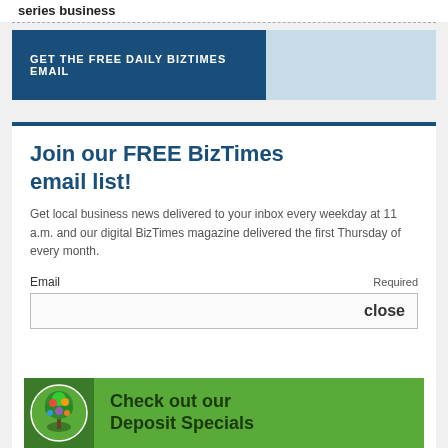series business
GET THE FREE DAILY BIZTIMES EMAIL
Join our FREE BizTimes email list!
Get local business news delivered to your inbox every weekday at 11 a.m. and our digital BizTimes magazine delivered the first Thursday of every month.
Email  Required
close
[Figure (infographic): Green advertisement banner with a tree logo and text 'Check out our Deposit Specials']